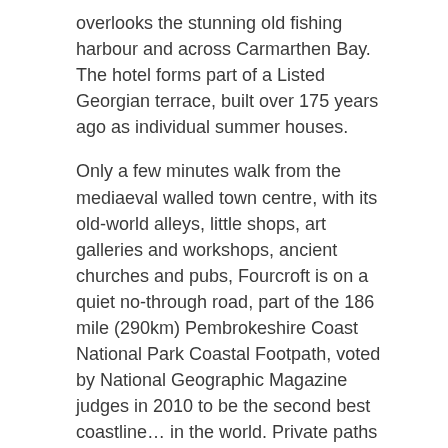overlooks the stunning old fishing harbour and across Carmarthen Bay. The hotel forms part of a Listed Georgian terrace, built over 175 years ago as individual summer houses.
Only a few minutes walk from the mediaeval walled town centre, with its old-world alleys, little shops, art galleries and workshops, ancient churches and pubs, Fourcroft is on a quiet no-through road, part of the 186 mile (290km) Pembrokeshire Coast National Park Coastal Footpath, voted by National Geographic Magazine judges in 2010 to be the second best coastline… in the world. Private paths from the hotel lead down to the beach through several levels of beautiful landscaped gardens.
Most of the hotels 40 bedrooms overlook the bay. All of them offer a wide range of facilities to ensure your comfort: ensuite bathroom, radio and T.V., central heating, tea and coffee bar, hair dryer, direct dial telephone. A lift runs from the first half landing.
The hotel restaurant and lounges also overlook the sea…